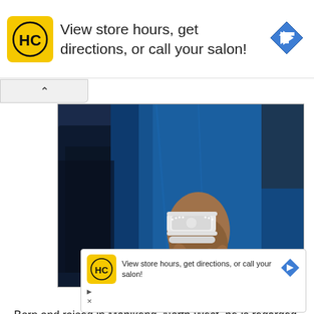[Figure (screenshot): Top advertisement banner for a salon service showing HC logo, text 'View store hours, get directions, or call your salon!' and a blue diamond arrow icon]
[Figure (photo): Photo of Cassper Nyovest wearing a blue suit jacket, showing his hand/wrist with a diamond-encrusted watch and bracelet]
Cassper Nyovest
Born and raised in Mahikeng, North West, he is regarded as one of the most successful artists in South Africa.
[Figure (screenshot): Overlay advertisement for salon service showing HC logo, text 'View store hours, get directions, or call your salon!' and blue diamond arrow icon]